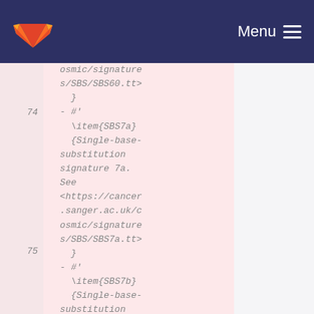Menu
osmic/signatures/SBS/SBS60.tt>
    }
74  - #'
    \item{SBS7a}
    {Single-base-substitution signature 7a. See
    <https://cancer.sanger.ac.uk/cosmic/signatures/SBS/SBS7a.tt>
    }
75  - #'
    \item{SBS7b}
    {Single-base-substitution signature 7b. See
    <https://cancer.sanger.ac.uk/cosmic/signatures